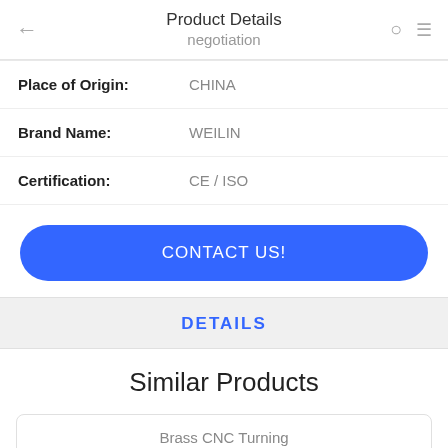Product Details / negotiation
| Field | Value |
| --- | --- |
| Place of Origin: | CHINA |
| Brand Name: | WEILIN |
| Certification: | CE / ISO |
CONTACT US!
DETAILS
Similar Products
Brass CNC Turning